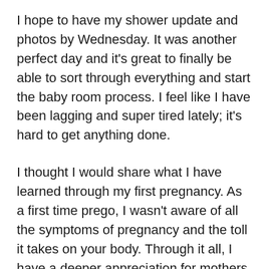I hope to have my shower update and photos by Wednesday. It was another perfect day and it's great to finally be able to sort through everything and start the baby room process. I feel like I have been lagging and super tired lately; it's hard to get anything done.
I thought I would share what I have learned through my first pregnancy. As a first time prego, I wasn't aware of all the symptoms of pregnancy and the toll it takes on your body. Through it all, I have a deeper appreciation for mothers.
I know every pregnancy is different, and some have it way worse and way better than I have had. Pregnancy has taught me a lot about my body and my limitations. It's been a humbling experience at times.